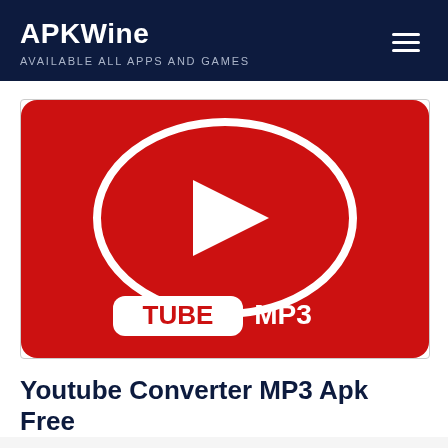APKWine
AVAILABLE ALL APPS AND GAMES
[Figure (logo): TubeMP3 app logo: red rounded rectangle background with a white oval containing a white play triangle in the center, and 'TUBE' in a white rounded rectangle badge and 'MP3' in white text below.]
Youtube Converter MP3 Apk Free